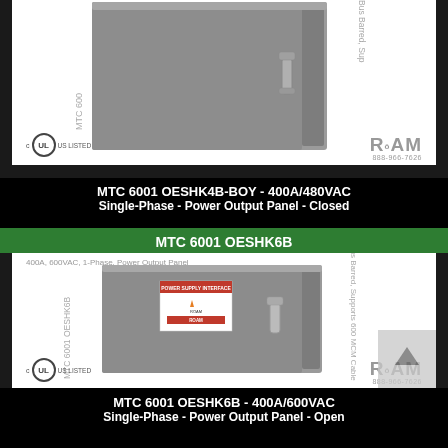[Figure (photo): MTC 6001 OESHK4B-BOY product photo showing a grey metal electrical power output panel enclosure (closed), with UL listed mark and ROAM 888-966-7626 branding. Side labels read 'MTC 600' on left and 'Bus Barred, Sup' on right.]
MTC 6001 OESHK4B-BOY - 400A/480VAC Single-Phase - Power Output Panel - Closed
MTC 6001 OESHK6B
[Figure (photo): MTC 6001 OESHK6B product photo showing a grey metal electrical power output panel enclosure (open view), labelled '400A, 600VAC, 1-Phase, Power Output Panel'. Has warning label with ROAM branding, handle, UL listed mark, ROAM logo 888-966-7626. Side labels: 'MTC 6001 OESHK6B' on left, 'Bus Barred, Supports 600 MCM Cable' on right.]
MTC 6001 OESHK6B - 400A/600VAC Single-Phase - Power Output Panel - Open